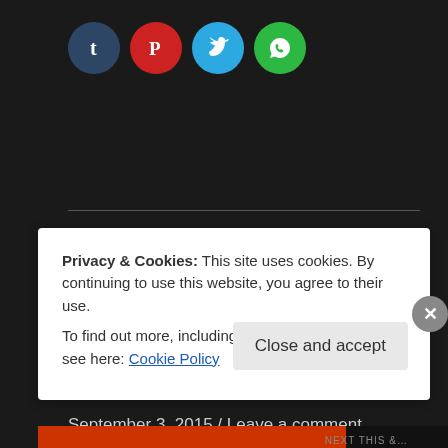[Figure (other): Social media share buttons: Tumblr (dark blue circle with t), Pinterest (red circle with P), Twitter (light blue circle with bird), WhatsApp (green circle with phone)]
[Figure (other): WordPress Like button widget with star icon and blogger avatar thumbnail]
One blogger likes this.
September 3, 2015 / Leave a comment
Privacy & Cookies: This site uses cookies. By continuing to use this website, you agree to their use.
To find out more, including how to control cookies, see here: Cookie Policy
Close and accept